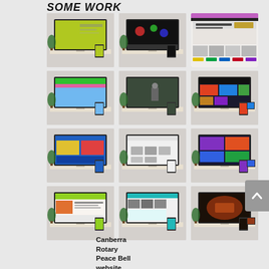SOME WORK
[Figure (screenshot): Grid of 12 website mockup screenshots shown on iMac/desktop devices, 3 columns × 4 rows. Row 1: green-screen website, dark website with colorful elements, Etsy-like website with purple header. Row 2: website with blue/pink header, dark website with figure, entertainment/TV website. Row 3: blue/yellow website with video, white website with images, colorful entertainment website. Row 4: green/orange news-type website, teal/white website, dark website with orange imagery.]
Canberra Rotary Peace Bell website shown on an iMac